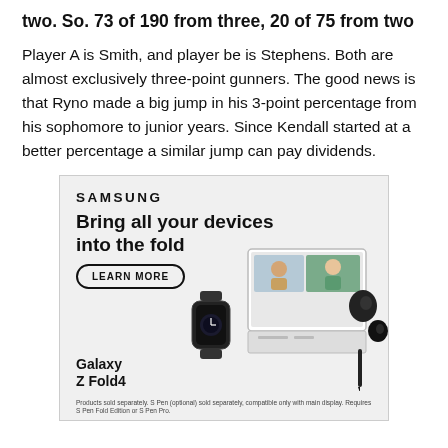two. So. 73 of 190 from three, 20 of 75 from two
Player A is Smith, and player be is Stephens. Both are almost exclusively three-point gunners. The good news is that Ryno made a big jump in his 3-point percentage from his sophomore to junior years. Since Kendall started at a better percentage a similar jump can pay dividends.
[Figure (illustration): Samsung advertisement featuring the Galaxy Z Fold4. Text reads: SAMSUNG, Bring all your devices into the fold, LEARN MORE button, Galaxy Z Fold4. Shows images of a smartwatch, foldable phone, laptop with video call, and earbuds. Disclaimer: Products sold separately. S Pen (optional) sold separately, compatible only with main display. Requires S Pen Fold Edition or S Pen Pro.]